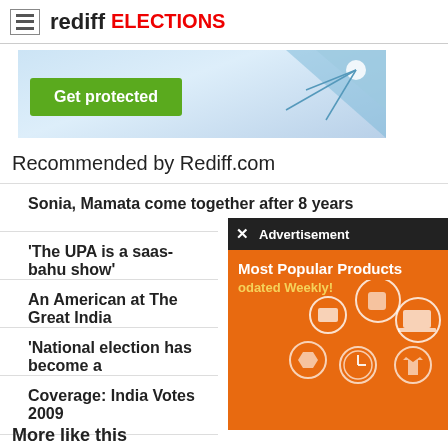rediff ELECTIONS
[Figure (screenshot): Advertisement banner with 'Get protected' green button on blue background]
Recommended by Rediff.com
Sonia, Mamata come together after 8 years
'The UPA is a saas-bahu show'
An American at The Great India
'National election has become a
Coverage: India Votes 2009
[Figure (screenshot): Advertisement overlay popup with orange background showing 'Most Popular Products Updated Weekly!' with shopping icons]
More like this